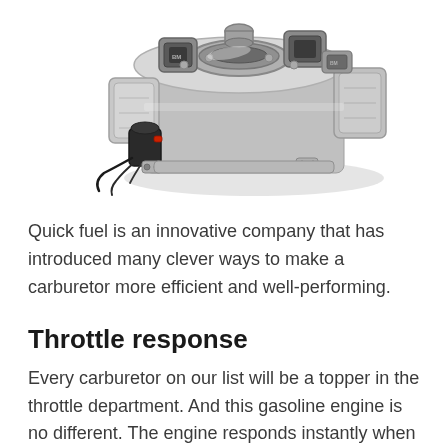[Figure (photo): A polished chrome/silver carburetor component photographed from above at an angle, showing detailed mechanical parts including throttle bodies, fuel bowls, and various fittings.]
Quick fuel is an innovative company that has introduced many clever ways to make a carburetor more efficient and well-performing.
Throttle response
Every carburetor on our list will be a topper in the throttle department. And this gasoline engine is no different. The engine responds instantly when you